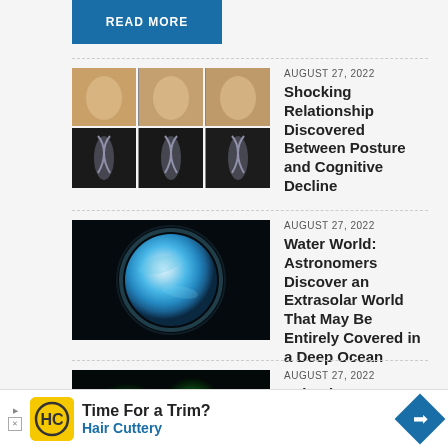READ MORE
[Figure (photo): Grid of 6 images showing posture comparisons: top row shows tan/flesh-colored posture references, bottom row shows X-ray neck/spine images]
AUGUST 27, 2022
Shocking Relationship Discovered Between Posture and Cognitive Decline
[Figure (photo): Blue and teal colored planet/water world on black background]
AUGUST 27, 2022
Water World: Astronomers Discover an Extrasolar World That May Be Entirely Covered in a Deep Ocean
[Figure (photo): Fluorescence microscopy image of synthetic embryo showing glowing green and pink/purple cell clusters on black background]
AUGUST 27, 2022
Scientists Grow “Synthetic” Embryo With Brain and Beating Heart – Without Eggs or Sperm
[Figure (other): Hair Cuttery advertisement banner: yellow HC logo, 'Time For a Trim?' headline, 'Hair Cuttery' subtitle, blue diamond arrow]